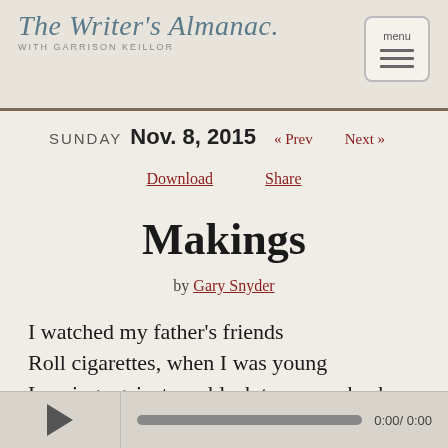The Writer's Almanac with Garrison Keillor
SUNDAY Nov. 8, 2015  « Prev  Next »
Download  Share
Makings
by Gary Snyder
I watched my father's friends
Roll cigarettes, when I was young
Leaning against our black tarpaper shack.
The wheatstraw grimy in their hands
Talking of cars and tools and jobs
0:00/ 0:00